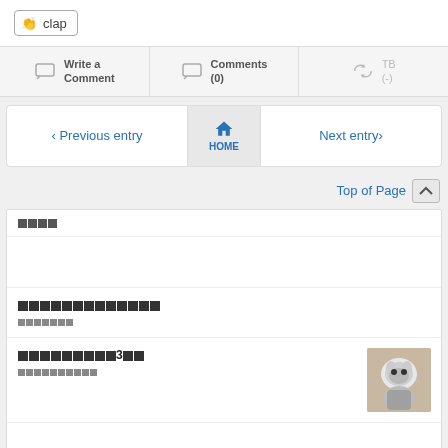[Figure (screenshot): Clap button with hand emoji icon and text 'clap']
[Figure (screenshot): Action bar with Write a Comment, Comments (0), and TB (-) buttons with icons]
[Figure (screenshot): Navigation bar with Previous entry, HOME (house icon), and Next entry buttons]
Top of Page
[Figure (screenshot): Related articles section with Japanese text entries, one with a thumbnail photo of a cat on a toilet paper roll]